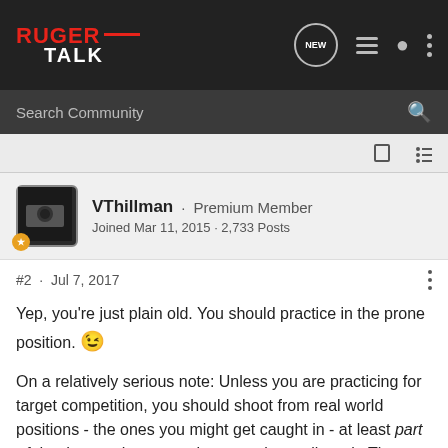Ruger Talk — navigation bar with logo, NEW bubble, list icon, user icon, three-dots menu
Search Community
#2 · Jul 7, 2017
VThillman · Premium Member
Joined Mar 11, 2015 · 2,733 Posts
Yep, you're just plain old. You should practice in the prone position. 😉
On a relatively serious note: Unless you are practicing for target competition, you should shoot from real world positions - the ones you might get caught in - at least part of the time, to the extent the range boss allows it. The variety might even ease your back.